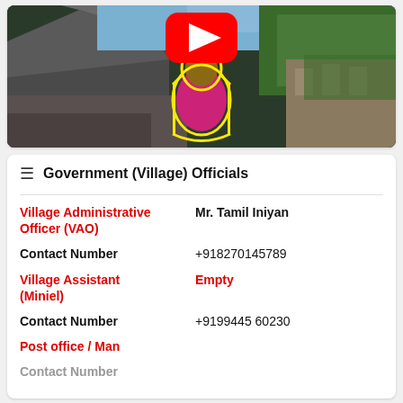[Figure (screenshot): YouTube video thumbnail showing a young man in a pink/magenta shirt outlined in yellow, standing in front of a rocky/forested background with ruins. A YouTube play button icon is overlaid at the top center.]
☰  Government (Village) Officials
Village Administrative Officer (VAO)    Mr. Tamil Iniyan
Contact Number    +918270145789
Village Assistant (Miniel)    Empty
Contact Number    +9199445 60230
Post office / Man
Contact Number